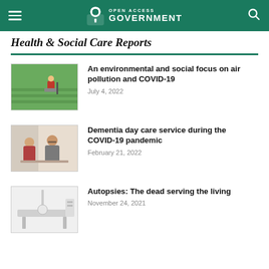Open Access Government — navigation bar
Health & Social Care Reports
[Figure (photo): Person in red jacket working in a green field with plants]
An environmental and social focus on air pollution and COVID-19
July 4, 2022
[Figure (photo): Elderly woman and caregiver sitting together at a table]
Dementia day care service during the COVID-19 pandemic
February 21, 2022
[Figure (photo): Medical autopsy room with examination table and equipment]
Autopsies: The dead serving the living
November 24, 2021